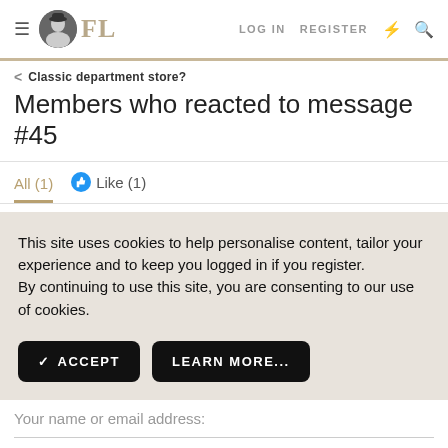FL — LOG IN  REGISTER
< Classic department store?
Members who reacted to message #45
All (1)   Like (1)
This site uses cookies to help personalise content, tailor your experience and to keep you logged in if you register.
By continuing to use this site, you are consenting to our use of cookies.
✓ ACCEPT   LEARN MORE...
Your name or email address: